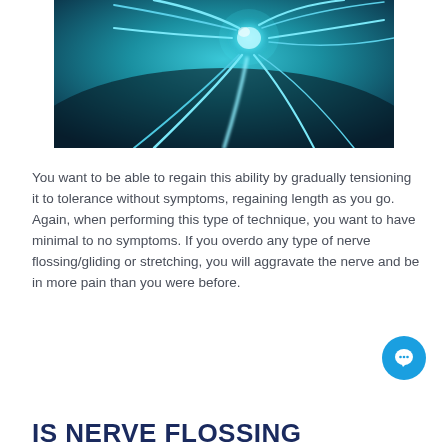[Figure (illustration): Close-up illustration of a neuron cell with glowing blue-green filaments against a teal/dark blue background]
You want to be able to regain this ability by gradually tensioning it to tolerance without symptoms, regaining length as you go. Again, when performing this type of technique, you want to have minimal to no symptoms. If you overdo any type of nerve flossing/gliding or stretching, you will aggravate the nerve and be in more pain than you were before.
IS NERVE FLOSSING